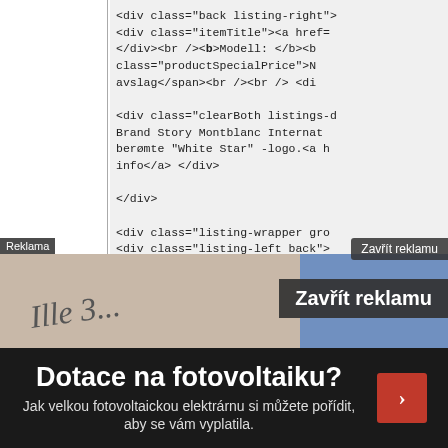[Figure (screenshot): Screenshot of HTML source code displayed in a browser developer tools or source view panel, showing HTML markup for a product listing page with div elements, class attributes, and links. Left panel is white/empty, right panel is light gray with monospace code text. Below is an advertisement overlay with 'Zavřít reklamu' (Close advertisement) button and a dark ad banner for 'Dotace na fotovoltaiku?' (Subsidies for photovoltaics).]